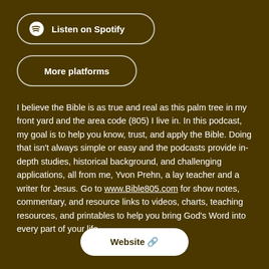[Figure (other): Button with Spotify logo icon and text 'Listen on Spotify' inside a rounded white-bordered pill shape on dark brown background]
[Figure (other): Button with text 'More platforms' inside a rounded white-bordered pill shape on dark brown background]
I believe the Bible is as true and real as this palm tree in my front yard and the area code (805) I live in. In this podcast, my goal is to help you know, trust, and apply the Bible. Doing that isn't always simple or easy and the podcasts provide in-depth studies, historical background, and challenging applications, all from me, Yvon Prehn, a lay teacher and a writer for Jesus. Go to www.Bible805.com for show notes, commentary, and resource links to videos, charts, teaching resources, and printables to help you bring God's Word into every part of your life.
[Figure (other): White pill-shaped button with text 'Website' and a chain link emoji icon]